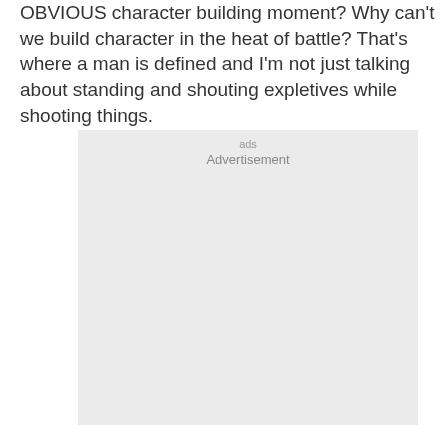OBVIOUS character building moment? Why can't we build character in the heat of battle? That's where a man is defined and I'm not just talking about standing and shouting expletives while shooting things.
[Figure (other): Advertisement placeholder box with light gray background and 'Advertisement' label text]